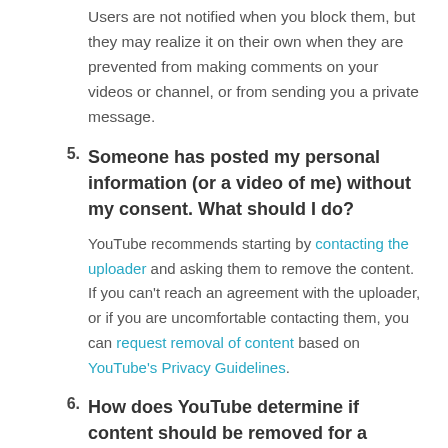Users are not notified when you block them, but they may realize it on their own when they are prevented from making comments on your videos or channel, or from sending you a private message.
5. Someone has posted my personal information (or a video of me) without my consent. What should I do?
YouTube recommends starting by contacting the uploader and asking them to remove the content. If you can't reach an agreement with the uploader, or if you are uncomfortable contacting them, you can request removal of content based on YouTube's Privacy Guidelines.
6. How does YouTube determine if content should be removed for a privacy violation?